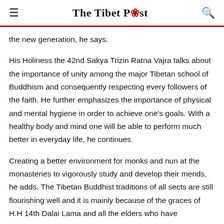≡  The Tibet Post  🔍
the new generation, he says.
His Holiness the 42nd Sakya Trizin Ratna Vajra talks about the importance of unity among the major Tibetan school of Buddhism and consequently respecting every followers of the faith. He further emphasizes the importance of physical and mental hygiene in order to achieve one's goals. With a healthy body and mind one will be able to perform much better in everyday life, he continues.
Creating a better environment for monks and nun at the monasteries to vigorously study and develop their mends, he adds. The Tibetan Buddhist traditions of all sects are still flourishing well and it is mainly because of the graces of H.H 14th Dalai Lama and all the elders who have